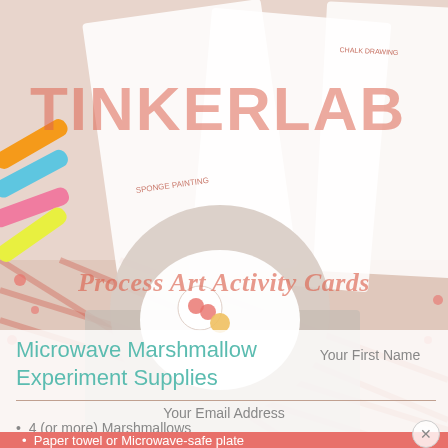[Figure (photo): Background photo of colorful chalk/crayon art supplies on a patterned surface with activity cards visible, overlaid with a photo of a white plate with marshmallows. TinkerLab branding and activity card thumbnails visible.]
TINKERLAB
Process Art Activity Cards
Microwave Marshmallow Experiment Supplies
Your First Name
Your Email Address
4 (or more) Marshmallows
Paper towel or Microwave-safe plate